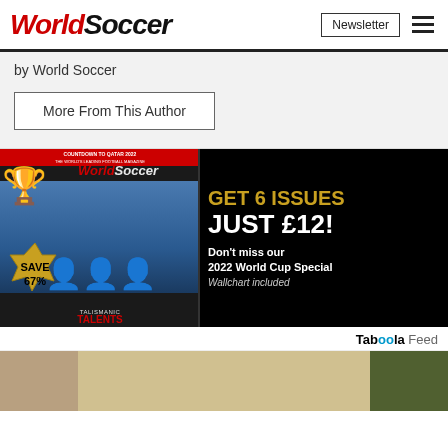WorldSoccer | Newsletter
by World Soccer
More From This Author
[Figure (photo): World Soccer magazine advertisement: GET 6 ISSUES JUST £12! Don't miss our 2022 World Cup Special. Wallchart included. SAVE 67%. TALISMANIC TALENTS. COUNTDOWN TO QATAR 2022.]
Taboola Feed
[Figure (photo): Row of partially visible article thumbnail images at the bottom of the page.]